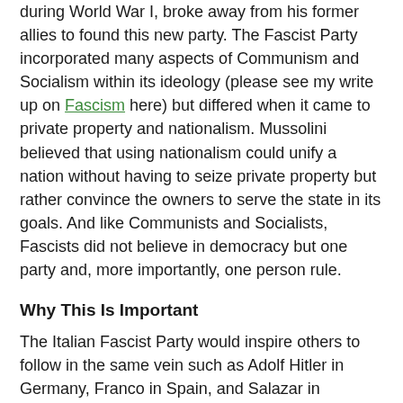during World War I, broke away from his former allies to found this new party. The Fascist Party incorporated many aspects of Communism and Socialism within its ideology (please see my write up on Fascism here) but differed when it came to private property and nationalism. Mussolini believed that using nationalism could unify a nation without having to seize private property but rather convince the owners to serve the state in its goals. And like Communists and Socialists, Fascists did not believe in democracy but one party and, more importantly, one person rule.
Why This Is Important
The Italian Fascist Party would inspire others to follow in the same vein such as Adolf Hitler in Germany, Franco in Spain, and Salazar in Portugal. And still inspires movements today.
Why  Fascism Appealed to Italians